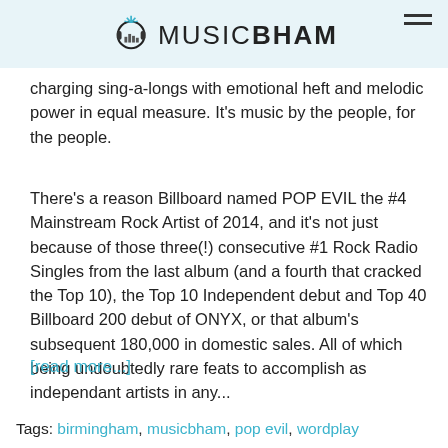MUSICBHAM
charging sing-a-longs with emotional heft and melodic power in equal measure. It's music by the people, for the people.
There's a reason Billboard named POP EVIL the #4 Mainstream Rock Artist of 2014, and it's not just because of those three(!) consecutive #1 Rock Radio Singles from the last album (and a fourth that cracked the Top 10), the Top 10 Independent debut and Top 40 Billboard 200 debut of ONYX, or that album's subsequent 180,000 in domestic sales. All of which being undoubtedly rare feats to accomplish as independant artists in any...
[read more...]
Tags: birmingham, musicbham, pop evil, wordplay